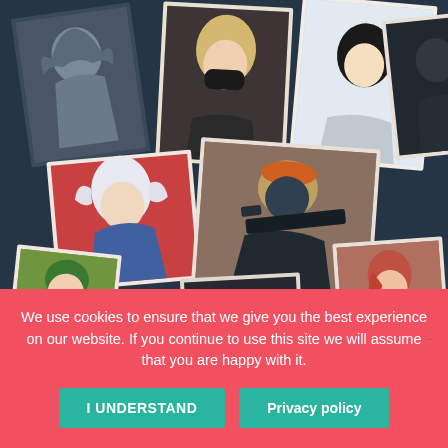[Figure (illustration): Collage of scattered photo cards showing various Valorant game characters/agents against a dark blue-grey background. Characters include masked female agent, female agent with glowing orb, male agent with sniper rifle and orange beret, female agent in white outfit, stylized female character with red background, hooded figure, and female agent in green outfit.]
February 17, 2021
Valorant 2.03 Patch include
We use cookies to ensure that we give you the best experience on our website. If you continue to use this site we will assume that you are happy with it.
I UNDERSTAND
Privacy policy